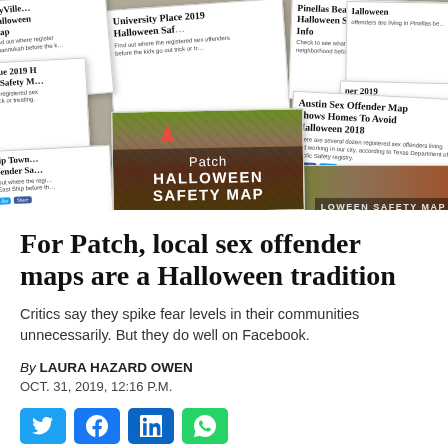[Figure (illustration): Collage of multiple Patch.com article cards about Halloween sex offender safety maps from various cities (University Place, Austin, Pinellas Beaches, Milford, etc.), overlaid with a central Patch Halloween Safety Map card featuring an autumn aerial landscape photo.]
For Patch, local sex offender maps are a Halloween tradition
Critics say they spike fear levels in their communities unnecessarily. But they do well on Facebook.
By LAURA HAZARD OWEN
OCT. 31, 2019, 12:16 P.M.